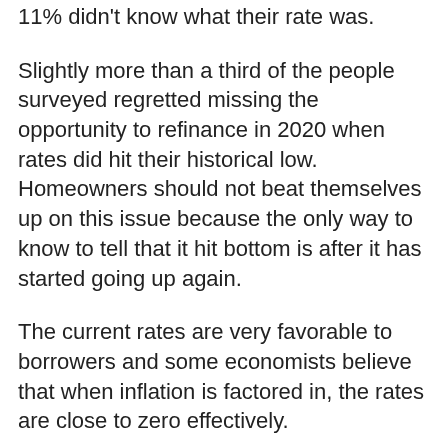11% didn't know what their rate was.
Slightly more than a third of the people surveyed regretted missing the opportunity to refinance in 2020 when rates did hit their historical low. Homeowners should not beat themselves up on this issue because the only way to know to tell that it hit bottom is after it has started going up again.
The current rates are very favorable to borrowers and some economists believe that when inflation is factored in, the rates are close to zero effectively.
While there are nine specific reasons people choose to refinance their homes, two are among the most prevalent: to lower the payment or take cash out of the equity. Most reasons include: